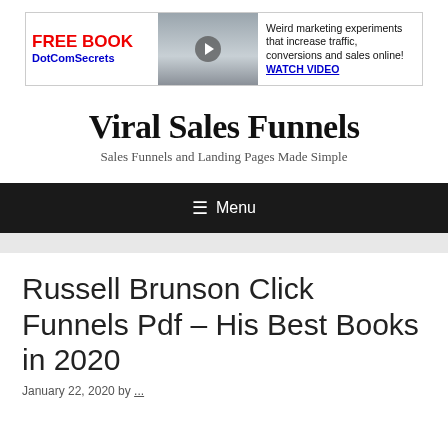[Figure (screenshot): Banner advertisement for DotComSecrets free book with red car image in middle and text about marketing experiments on right]
Viral Sales Funnels
Sales Funnels and Landing Pages Made Simple
☰ Menu
Russell Brunson Click Funnels Pdf – His Best Books in 2020
January 22, 2020 by ...